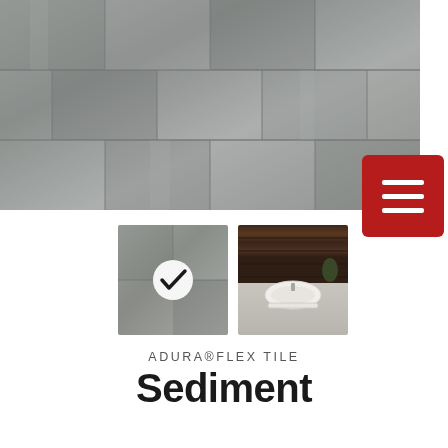[Figure (photo): Close-up photo of grey concrete-look luxury vinyl tile flooring laid in a large-format tile pattern with subtle variation in tone]
[Figure (photo): Small thumbnail of the grey tile texture with a white checkmark circle overlay indicating selected state]
[Figure (photo): Small thumbnail of a bathroom scene with dark wood plank wall, a freestanding white soaking tub, and light grey tile floor]
ADURA®FLEX TILE
Sediment